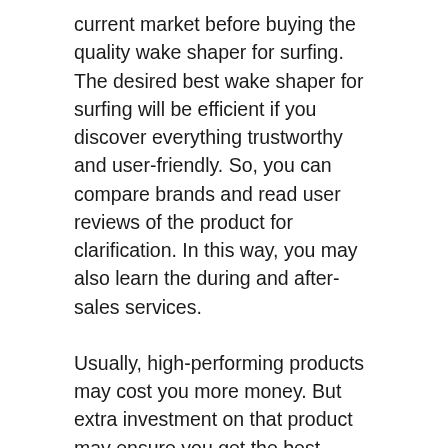current market before buying the quality wake shaper for surfing. The desired best wake shaper for surfing will be efficient if you discover everything trustworthy and user-friendly. So, you can compare brands and read user reviews of the product for clarification. In this way, you may also learn the during and after-sales services.
Usually, high-performing products may cost you more money. But extra investment on that product may ensure you get the best performance and after-sales service. However, some manufacturers can be new to the market with a short history, except for the thoughts. They can also offer their best to compete and win the market.